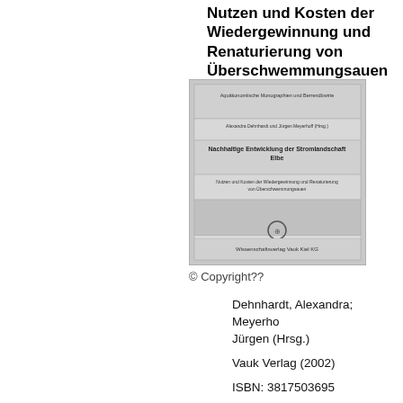Nutzen und Kosten der Wiedergewinnung und Renaturierung von Überschwemmungsauen
[Figure (photo): Cover image of a book titled 'Nachhaltige Entwicklung der Stromlandschaft Elbe' published by Wissenschaftsverlag Vauk Kiel KG, showing the book cover with text sections and a publisher logo]
© Copyright??
Dehnhardt, Alexandra; Meyerhoff, Jürgen (Hrsg.)
Vauk Verlag (2002)
ISBN: 3817503695
Die Elbe ist einer der wenigen Flüsse in Europa, der...